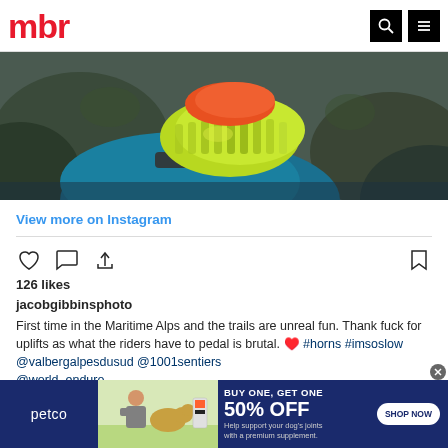mbr
[Figure (photo): Close-up photo of a mountain biker's foot in a bright yellow-green and orange shoe, with teal clothing visible, against a rocky background]
View more on Instagram
[Figure (infographic): Instagram action icons: heart (like), comment bubble, share arrow on left; bookmark on right]
126 likes
jacobgibbinsphoto
First time in the Maritime Alps and the trails are unreal fun. Thank fuck for uplifts as what the riders have to pedal is brutal. ♥️ #horns #imsoslow @valbergalpesdusud @1001sentiers @world_enduro
[Figure (infographic): Petco advertisement banner: BUY ONE, GET ONE 50% OFF - Help support your dog's joints with a premium supplement. SHOP NOW button. Features image of woman with dog and supplement bottle.]